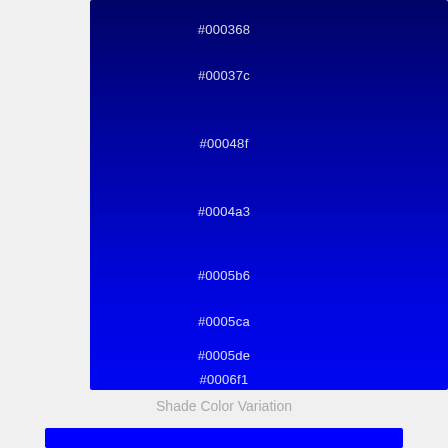[Figure (other): Vertical gradient color swatch showing blue shades from #000368 (very dark navy) at top to #0006f1 (bright blue) at bottom, with each shade labeled in white text]
Shade Color Variation
[Figure (other): Solid bright blue (#0000ff) color bar at bottom of page]